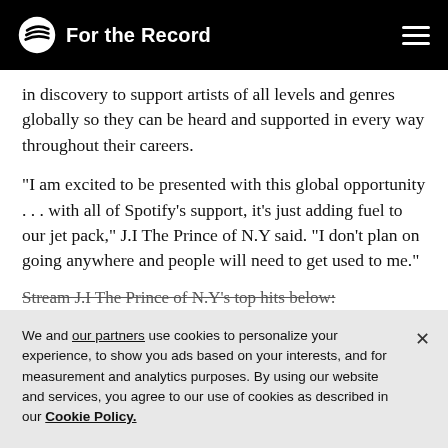For the Record
in discovery to support artists of all levels and genres globally so they can be heard and supported in every way throughout their careers.
“I am excited to be presented with this global opportunity . . . with all of Spotify’s support, it’s just adding fuel to our jet pack,” J.I The Prince of N.Y said. “I don’t plan on going anywhere and people will need to get used to me.”
Stream J.I The Prince of N.Y’s top hits below:
We and our partners use cookies to personalize your experience, to show you ads based on your interests, and for measurement and analytics purposes. By using our website and services, you agree to our use of cookies as described in our Cookie Policy.